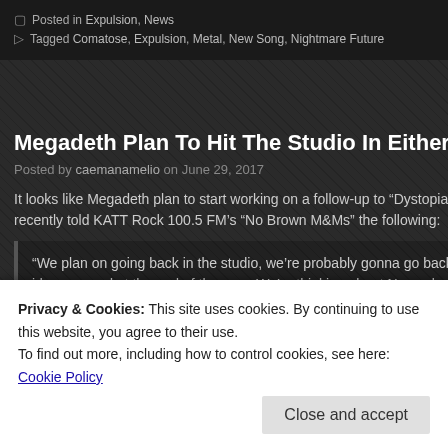Posted in Expulsion, News
Tagged Comatose, Expulsion, Metal, New Song, Nightmare Future
Megadeth Plan To Hit The Studio In Either November Or D…
Posted by caemanamelio on June 29, 2017
It looks like Megadeth plan to start working on a follow-up to “Dystopia” later t… recently told KATT Rock 100.5 FM’s “No Brown M&Ms” the following:
“We plan on going back in the studio, we’re probably gonna go back in a… ideas around at the end of the year. We’re thinking about November or D…
Privacy & Cookies: This site uses cookies. By continuing to use this website, you agree to their use.
To find out more, including how to control cookies, see here: Cookie Policy
Close and accept